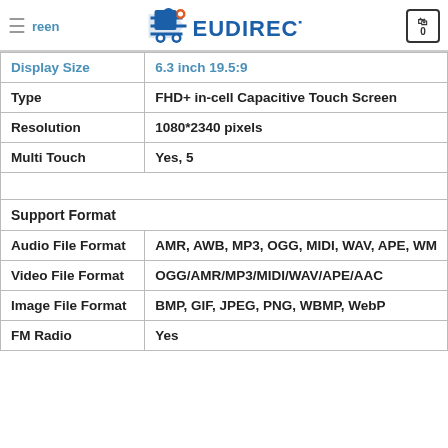EUDIRECT
| Feature | Value |
| --- | --- |
| Display Size | 6.3 inch 19.5:9 |
| Type | FHD+ in-cell Capacitive Touch Screen |
| Resolution | 1080*2340 pixels |
| Multi Touch | Yes, 5 |
|  |  |
| Support Format |  |
| Audio File Format | AMR, AWB, MP3, OGG, MIDI, WAV, APE, WM |
| Video File Format | OGG/AMR/MP3/MIDI/WAV/APE/AAC |
| Image File Format | BMP, GIF, JPEG, PNG, WBMP, WebP |
| FM Radio | Yes |